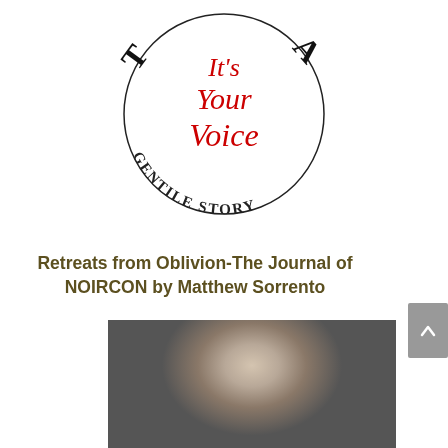[Figure (logo): Circular logo with curved text 'GENTILE STORY' along the bottom arc and partial text at top. In the center, red cursive script reads 'It's Your Voice'.]
Retreats from Oblivion-The Journal of NOIRCON by Matthew Sorrento
[Figure (photo): Black and white photograph of a person with long hair, looking directly at the camera. The image is cropped to show primarily the face and upper portion.]